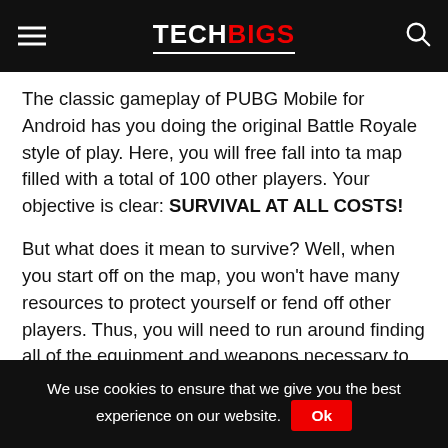TECHBIGS
The classic gameplay of PUBG Mobile for Android has you doing the original Battle Royale style of play. Here, you will free fall into ta map filled with a total of 100 other players. Your objective is clear: SURVIVAL AT ALL COSTS!
But what does it mean to survive? Well, when you start off on the map, you won't have many resources to protect yourself or fend off other players. Thus, you will need to run around finding all of the equipment and weapons necessary to ensure your survival.
We use cookies to ensure that we give you the best experience on our website. Ok